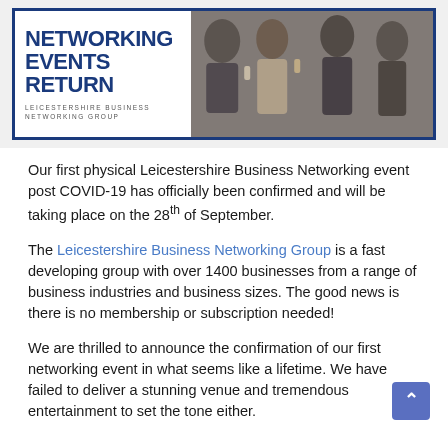[Figure (illustration): Banner image for Leicestershire Business Networking Group showing bold text 'NETWORKING EVENTS RETURN' on the left and a photo of business people networking (clinking glasses at an event) on the right, with a dark blue border.]
Our first physical Leicestershire Business Networking event post COVID-19 has officially been confirmed and will be taking place on the 28th of September.
The Leicestershire Business Networking Group is a fast developing group with over 1400 businesses from a range of business industries and business sizes. The good news is there is no membership or subscription needed!
We are thrilled to announce the confirmation of our first networking event in what seems like a lifetime. We have failed to deliver a stunning venue and tremendous entertainment to set the tone either.